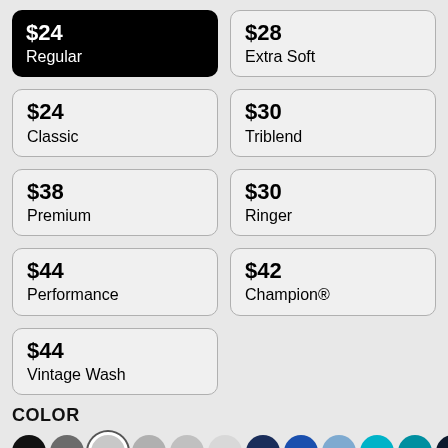$24 Regular
$28 Extra Soft
$24 Classic
$30 Triblend
$38 Premium
$30 Ringer
$44 Performance
$42 Champion®
$44 Vintage Wash
COLOR
[Figure (other): Row of color swatches: black, dark gray, medium gray (outlined/selected), light gray, silver-gray, white/light, navy, royal blue, light blue, teal, teal-dark, dark navy/black, dark green, olive]